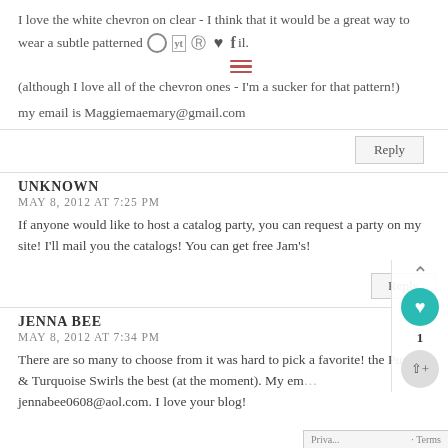I love the white chevron on clear - I think that it would be a great way to wear a subtle patterned nail.
(although I love all of the chevron ones - I'm a sucker for that pattern!)
my email is Maggiemaemary@gmail.com
Reply
UNKNOWN
MAY 8, 2012 AT 7:25 PM
If anyone would like to host a catalog party, you can request a party on my site! I'll mail you the catalogs! You can get free Jam's!
Reply
JENNA BEE
MAY 8, 2012 AT 7:34 PM
There are so many to choose from it was hard to pick a favorite! the Purple & Turquoise Swirls the best (at the moment). My em jennabee0608@aol.com. I love your blog!